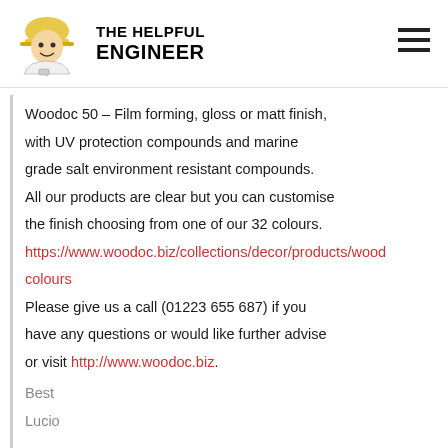THE HELPFUL ENGINEER
Woodoc 50 – Film forming, gloss or matt finish, with UV protection compounds and marine grade salt environment resistant compounds. All our products are clear but you can customise the finish choosing from one of our 32 colours. https://www.woodoc.biz/collections/decor/products/woodoc-colours Please give us a call (01223 655 687) if you have any questions or would like further advise or visit http://www.woodoc.biz.
Best
Lucio